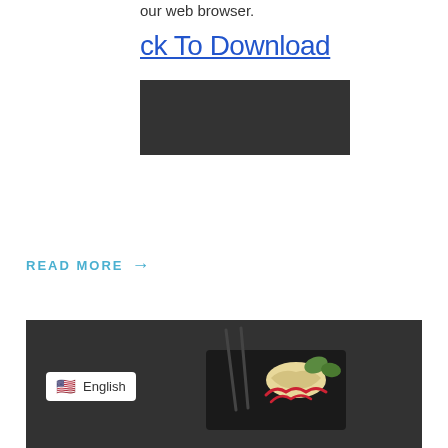our web browser.
ck To Download
[Figure (other): Dark rectangular placeholder block]
READ MORE →
[Figure (photo): Photo of a plated food dish with red drizzle, chopsticks on a dark slate background, with English language badge overlay]